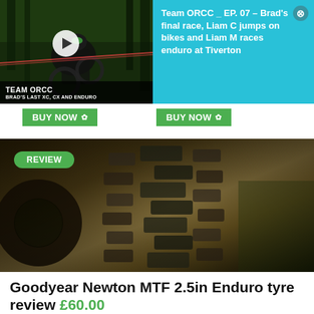[Figure (screenshot): Mountain biker riding downhill in forest - video thumbnail with play button. Text overlay: TEAM ORCC / BRAD'S LAST XC, CX AND ENDURO]
Team ORCC _ EP. 07 – Brad's final race, Liam C jumps on bikes and Liam M races enduro at Tiverton
BUY NOW
BUY NOW
[Figure (photo): Close-up of a knobby mountain bike tyre with review badge overlay]
Goodyear Newton MTF 2.5in Enduro tyre review £60.00
Well priced with good performance over hardpack but struggles to compete against rivals